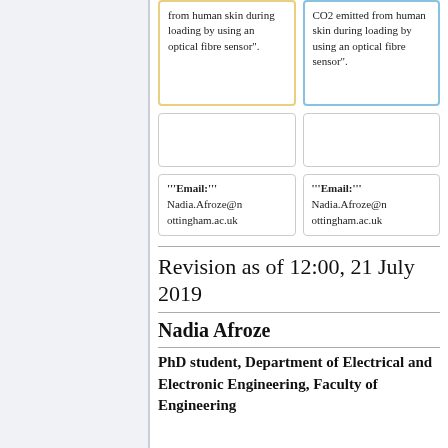from human skin during loading by using an optical fibre sensor".
CO2 emitted from human skin during loading by using an optical fibre sensor".
'''Email:''' Nadia.Afroze@nottingham.ac.uk
'''Email:''' Nadia.Afroze@nottingham.ac.uk
Revision as of 12:00, 21 July 2019
Nadia Afroze
PhD student, Department of Electrical and Electronic Engineering, Faculty of Engineering